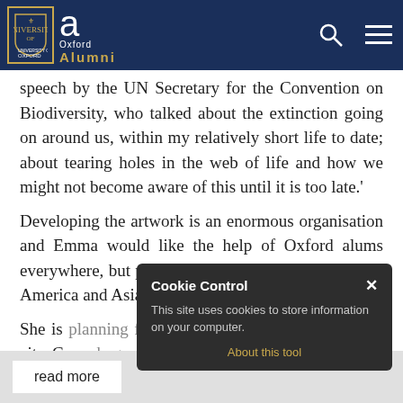University of Oxford Alumni
speech by the UN Secretary for the Convention on Biodiversity, who talked about the extinction going on around us, within my relatively short life to date; about tearing holes in the web of life and how we might not become aware of this until it is too late.'
Developing the artwork is an enormous organisation and Emma would like the help of Oxford alums everywhere, but particularly beyond the UK in Latin America and Asia.
She is planning for 15,000 participants in her home city Copenhagen, but says that size is not the only factor and that the piece of art will succeed with hundreds rather than thousands of participants.
[Figure (screenshot): Cookie Control popup overlay: dark background box with title 'Cookie Control', close X button, body text 'This site uses cookies to store information on your computer.', and link 'About this tool']
read more